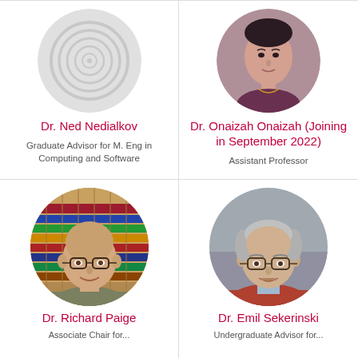[Figure (photo): Circular placeholder photo with spiral pattern for Dr. Ned Nedialkov]
Dr. Ned Nedialkov
Graduate Advisor for M. Eng in Computing and Software
[Figure (photo): Circular photo of Dr. Onaizah Onaizah, a woman with dark hair]
Dr. Onaizah Onaizah (Joining in September 2022)
Assistant Professor
[Figure (photo): Circular photo of Dr. Richard Paige, a bald man with glasses in front of bookshelves]
Dr. Richard Paige
Associate Chair for...
[Figure (photo): Circular photo of Dr. Emil Sekerinski, a man with grey hair wearing glasses and a red jacket]
Dr. Emil Sekerinski
Undergraduate Advisor for...